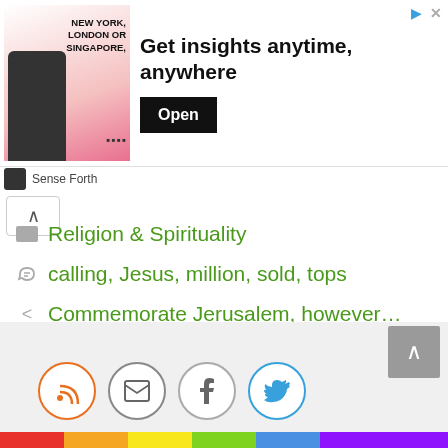[Figure (screenshot): Advertisement banner: image of a man with text 'NEW YORK, LONDON OR SINGAPORE,' and headline 'Get insights anytime, anywhere' with an Open button. Sponsored by Sense Forth.]
Religion & Spirituality
calling, Jesus, million, sold, tops
Commemorate Jerusalem, however…
San Diego Diocesan Robert McElroy 'shocked' at being called primary by Pope Francis
[Figure (screenshot): Social sharing icons: RSS (orange), email (grey), Facebook (grey), Twitter (blue). Scroll-to-top button (grey). Rainbow bar at bottom.]